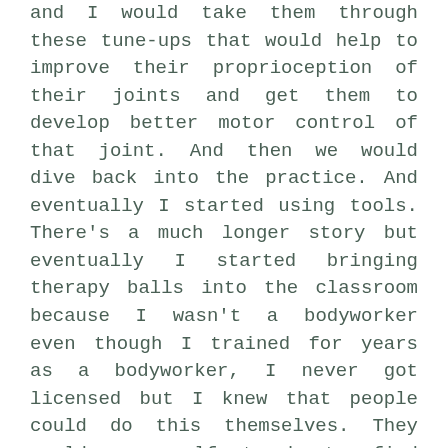and I would take them through these tune-ups that would help to improve their proprioception of their joints and get them to develop better motor control of that joint. And then we would dive back into the practice. And eventually I started using tools. There's a much longer story but eventually I started bringing therapy balls into the classroom because I wasn't a bodyworker even though I trained for years as a bodyworker, I never got licensed but I knew that people could do this themselves. They could use self touch to find these tissues that weren't cooperating with the performance of a movement task. They could excite their proprioceptors. And in the meantime, they'd feel great because they were also exciting certain parts of their autonomic nervous